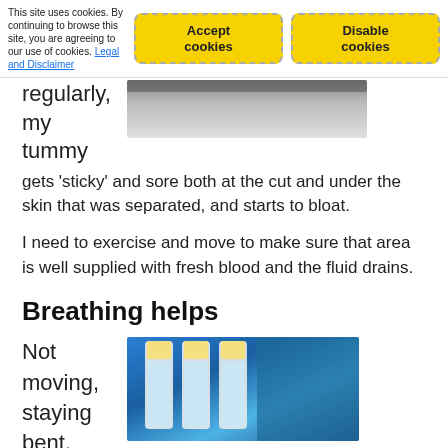This site uses cookies. By continuing to browse this site, you are agreeing to our use of cookies. Legal and Disclaimer
Accept cookies
Disable cookies
regularly, my tummy gets 'sticky' and sore both at the cut and under the skin that was separated, and starts to bloat.
[Figure (photo): Close-up photo of skin or body area, grayscale/muted tones]
I need to exercise and move to make sure that area is well supplied with fresh blood and the fluid drains.
Breathing helps
Not moving, staying bent, abdominal
[Figure (photo): Medical test tubes or vials with blue liquid/background, surgical draping visible]